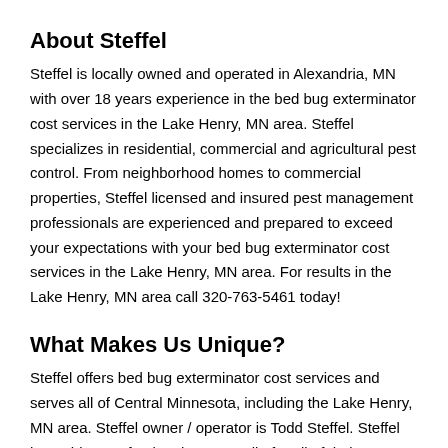About Steffel
Steffel is locally owned and operated in Alexandria, MN with over 18 years experience in the bed bug exterminator cost services in the Lake Henry, MN area. Steffel specializes in residential, commercial and agricultural pest control. From neighborhood homes to commercial properties, Steffel licensed and insured pest management professionals are experienced and prepared to exceed your expectations with your bed bug exterminator cost services in the Lake Henry, MN area. For results in the Lake Henry, MN area call 320-763-5461 today!
What Makes Us Unique?
Steffel offers bed bug exterminator cost services and serves all of Central Minnesota, including the Lake Henry, MN area. Steffel owner / operator is Todd Steffel. Steffel has a history of going the extra mile for all of their customers with